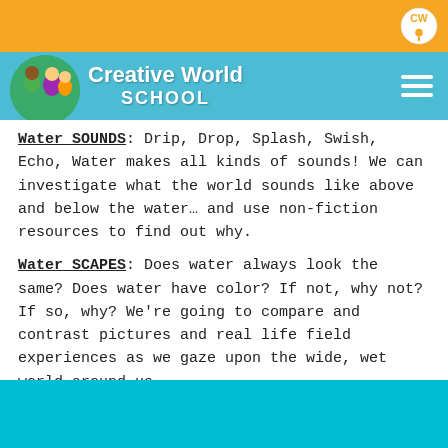[Figure (logo): Creative World School logo with orange top bar and CW icon]
Water SOUNDS: Drip, Drop, Splash, Swish, Echo, Water makes all kinds of sounds! We can investigate what the world sounds like above and below the water… and use non-fiction resources to find out why.
Water SCAPES: Does water always look the same? Does water have color? If not, why not? If so, why? We're going to compare and contrast pictures and real life field experiences as we gaze upon the wide, wet world around us.
Amazingly, children are able to extract some pretty abstract scientific principles from these simple investigations. DIVE IN with us!